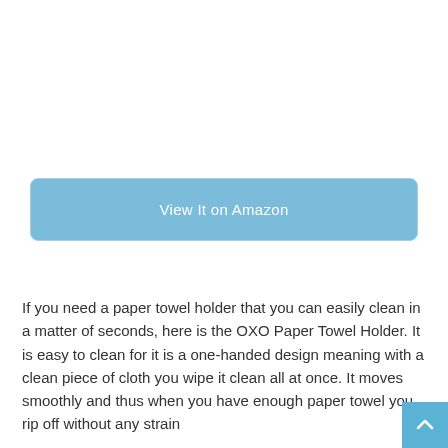[Figure (other): Blue button labeled 'View It on Amazon' with rounded corners and light blue background]
If you need a paper towel holder that you can easily clean in a matter of seconds, here is the OXO Paper Towel Holder. It is easy to clean for it is a one-handed design meaning with a clean piece of cloth you wipe it clean all at once. It moves smoothly and thus when you have enough paper towel you rip off without any strain